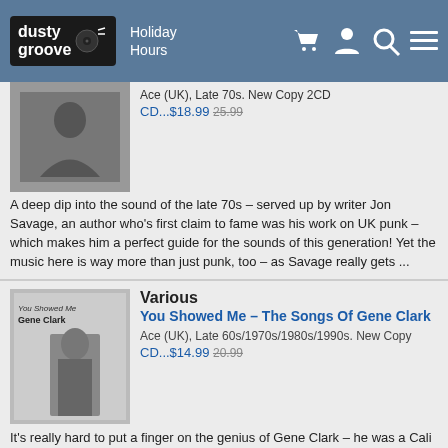dusty groove | Holiday Hours
Ace (UK), Late 70s. New Copy 2CD
CD...$18.99  25.99
A deep dip into the sound of the late 70s – served up by writer Jon Savage, an author who's first claim to fame was his work on UK punk – which makes him a perfect guide for the sounds of this generation! Yet the music here is way more than just punk, too – as Savage really gets ...
Various
You Showed Me – The Songs Of Gene Clark
Ace (UK), Late 60s/1970s/1980s/1990s. New Copy
CD...$14.99  20.99
It's really hard to put a finger on the genius of Gene Clark – he was a Cali pop artist, a country rock pioneer, a folkie, and so many other things – yet throughout it all, there was always a quality that was more Gene Clark first, and all those other styles second! Clark's known for ...
Various
Sounds Of The Unexpected – Weird & Wacky Instrumentals From Pop's Final Frontiers
Ace (UK), 1960s/Early 70s. New Copy
CD...$12.99  19.99
A totally cool collection of really offbeat numbers with a space age sort of theme – tunes that run the gamut from rock instrumentals to electronic pop – with lots of stops along the space in